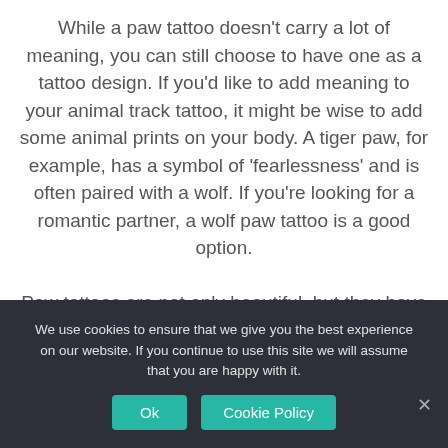While a paw tattoo doesn't carry a lot of meaning, you can still choose to have one as a tattoo design. If you'd like to add meaning to your animal track tattoo, it might be wise to add some animal prints on your body. A tiger paw, for example, has a symbol of 'fearlessness' and is often paired with a wolf. If you're looking for a romantic partner, a wolf paw tattoo is a good option.

Paw tattoos are not only beautiful, but they have a meaningful meaning. Some people get an animal paw
We use cookies to ensure that we give you the best experience on our website. If you continue to use this site we will assume that you are happy with it.